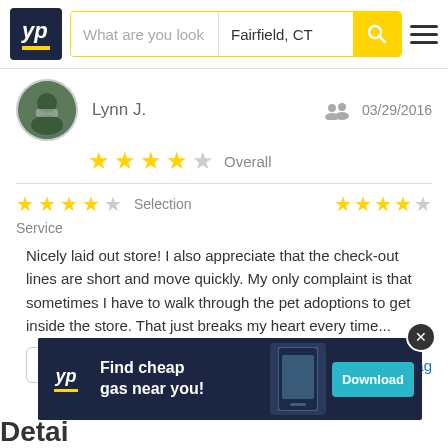[Figure (screenshot): YellowPages (YP) website header with logo, search bar showing 'What are you look' and 'Fairfield, CT', yellow search button, and hamburger menu]
Lynn J.
03/29/2016
Overall (4 out of 5 stars)
Selection (4 out of 5 stars)  Service (4 out of 5 stars)
Nicely laid out store! I also appreciate that the check-out lines are short and move quickly. My only complaint is that sometimes I have to walk through the pet adoptions to get inside the store. That just breaks my heart every time...
Helpful (0)
Flag
[Figure (screenshot): YP app advertisement banner: 'Find cheap gas near you!' with Download button]
Detai